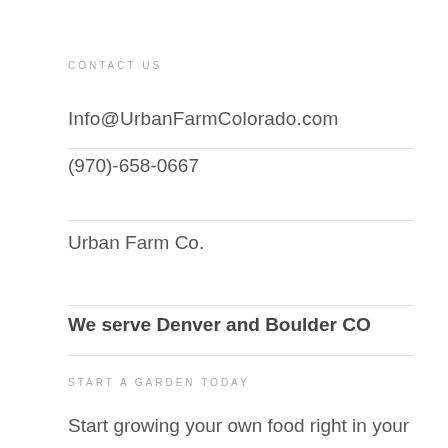CONTACT US
Info@UrbanFarmColorado.com
(970)-658-0667
Urban Farm Co.
We serve Denver and Boulder CO
START A GARDEN TODAY
Start growing your own food right in your